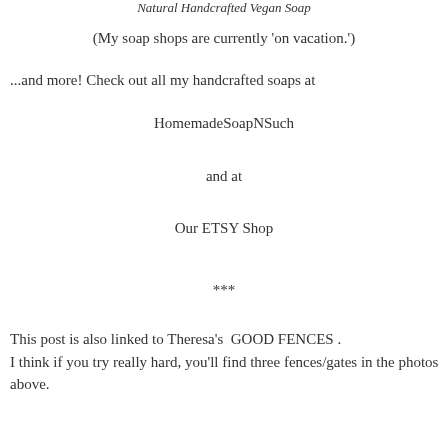Natural Handcrafted Vegan Soap
(My soap shops are currently 'on vacation.')
...and more! Check out all my handcrafted soaps at
HomemadeSoapNSuch
and at
Our ETSY Shop
***
This post is also linked to Theresa's  GOOD FENCES . I think if you try really hard, you'll find three fences/gates in the photos above.